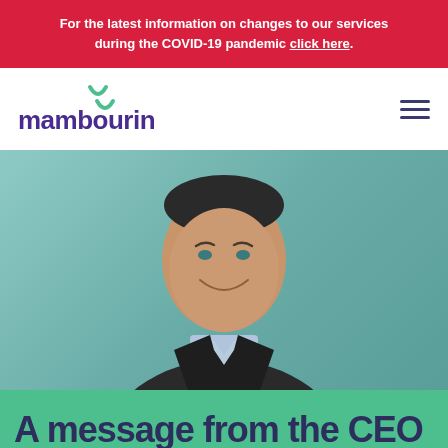For the latest information on changes to our services during the COVID-19 pandemic click here.
[Figure (logo): Mambourin logo with green icon and purple text]
[Figure (photo): Professional headshot of a smiling middle-aged man in a dark blazer and light blue shirt, against a teal/green background]
A message from the CEO